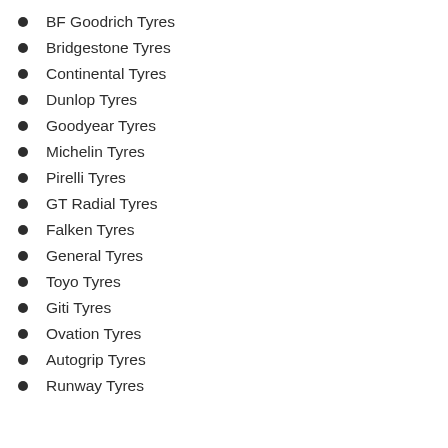BF Goodrich Tyres
Bridgestone Tyres
Continental Tyres
Dunlop Tyres
Goodyear Tyres
Michelin Tyres
Pirelli Tyres
GT Radial Tyres
Falken Tyres
General Tyres
Toyo Tyres
Giti Tyres
Ovation Tyres
Autogrip Tyres
Runway Tyres